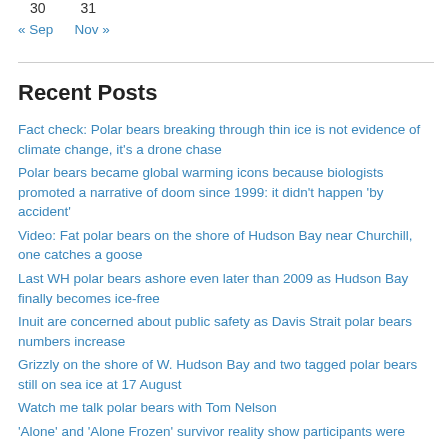30    31
« Sep   Nov »
Recent Posts
Fact check: Polar bears breaking through thin ice is not evidence of climate change, it's a drone chase
Polar bears became global warming icons because biologists promoted a narrative of doom since 1999: it didn't happen 'by accident'
Video: Fat polar bears on the shore of Hudson Bay near Churchill, one catches a goose
Last WH polar bears ashore even later than 2009 as Hudson Bay finally becomes ice-free
Inuit are concerned about public safety as Davis Strait polar bears numbers increase
Grizzly on the shore of W. Hudson Bay and two tagged polar bears still on sea ice at 17 August
Watch me talk polar bears with Tom Nelson
'Alone' and 'Alone Frozen' survivor reality show participants were never